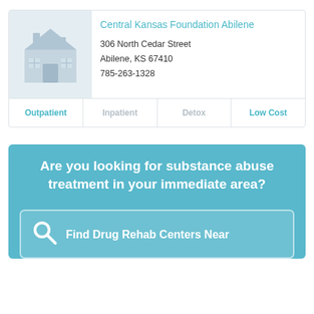[Figure (illustration): House/home icon in light blue-gray color representing a facility or residential building]
Central Kansas Foundation Abilene
306 North Cedar Street
Abilene, KS 67410
785-263-1328
| Outpatient | Inpatient | Detox | Low Cost |
| --- | --- | --- | --- |
Are you looking for substance abuse treatment in your immediate area?
Find Drug Rehab Centers Near